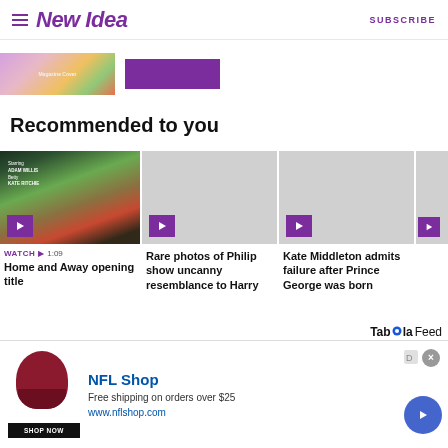New Idea | SUBSCRIBE
[Figure (screenshot): Partial view of a magazine cover or banner with colorful imagery and a purple button]
Recommended to you
[Figure (screenshot): Home and Away opening title video thumbnail with WATCH 1:09 label showing two people in a TV show scene]
WATCH ▶ 1:09
Home and Away opening title
[Figure (screenshot): Grey placeholder video thumbnail with purple play button]
Rare photos of Philip show uncanny resemblance to Harry
[Figure (screenshot): Grey placeholder video thumbnail with purple play button]
Kate Middleton admits failure after Prince George was born
[Figure (screenshot): Partially visible grey placeholder video thumbnail]
Taboola Feed
[Figure (screenshot): NFL Shop advertisement showing a red helmet, NFL Shop branding in blue, Free shipping on orders over $25, www.nflshop.com, SHOP NOW button, and a blue circular arrow button]